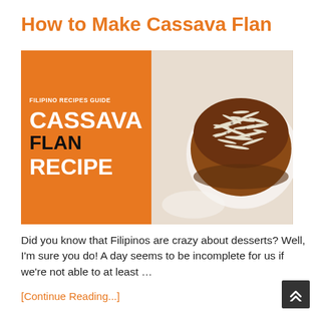How to Make Cassava Flan
[Figure (photo): Composite image: left half is an orange panel with text 'FILIPINO RECIPES GUIDE' and 'CASSAVA FLAN RECIPE'; right half is a photo of a cassava flan topped with shredded cheese on a white plate]
Did you know that Filipinos are crazy about desserts? Well, I'm sure you do! A day seems to be incomplete for us if we're not able to at least …
[Continue Reading...]